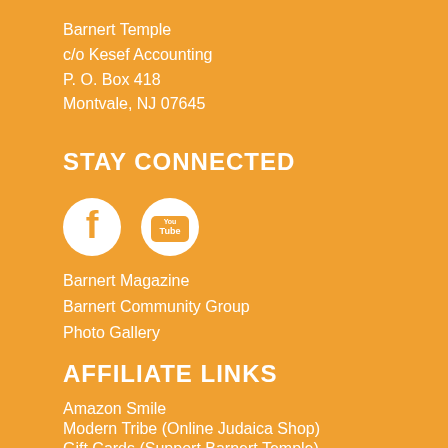Barnert Temple
c/o Kesef Accounting
P. O. Box 418
Montvale, NJ 07645
STAY CONNECTED
[Figure (logo): Facebook and YouTube social media icons in white circles on orange background]
Barnert Magazine
Barnert Community Group
Photo Gallery
AFFILIATE LINKS
Amazon Smile
Modern Tribe (Online Judaica Shop)
Gift Cards (Support Barnert Temple)